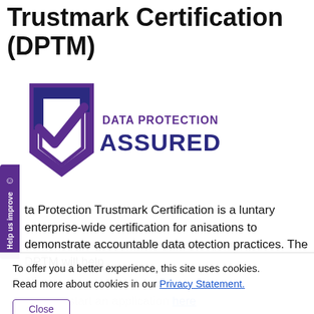Trustmark Certification (DPTM)
[Figure (logo): Data Protection Assured logo: purple shield with checkmark and text 'DATA PROTECTION ASSURED']
The Data Protection Trustmark Certification is a voluntary enterprise-wide certification for organisations to demonstrate accountable data protection practices. The DPTM will help build...
To offer you a better experience, this site uses cookies. Read more about cookies in our Privacy Statement.
Close